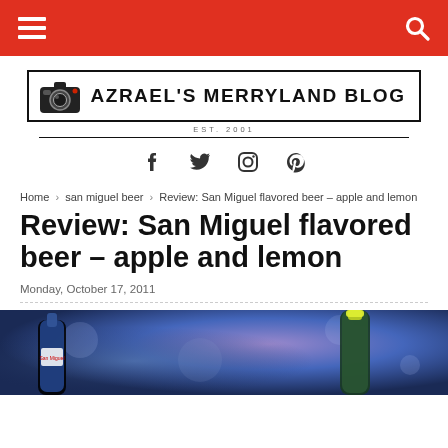Azrael's Merryland Blog — navigation bar with menu and search icons
[Figure (logo): Azrael's Merryland Blog logo with camera icon, EST. 2001]
[Figure (infographic): Social media icons: Facebook, Twitter, Instagram, Pinterest]
Home › san miguel beer › Review: San Miguel flavored beer – apple and lemon
Review: San Miguel flavored beer – apple and lemon
Monday, October 17, 2011
[Figure (photo): Two San Miguel beer bottles against a blue/purple bokeh background]